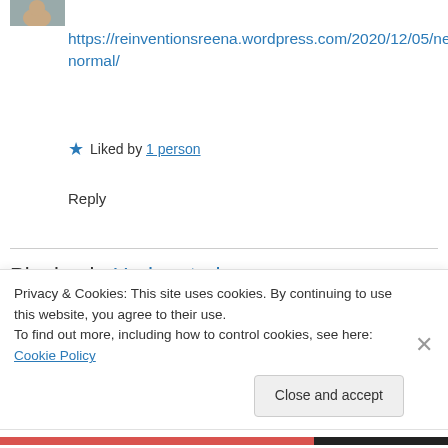[Figure (photo): Partial view of a profile avatar image at top left]
https://reinventionsreena.wordpress.com/2020/12/05/next-normal/
★ Liked by 1 person
Reply
Pingback: Undaunted
[Figure (photo): Small profile avatars next to partially visible commenter username]
Privacy & Cookies: This site uses cookies. By continuing to use this website, you agree to their use.
To find out more, including how to control cookies, see here: Cookie Policy
Close and accept